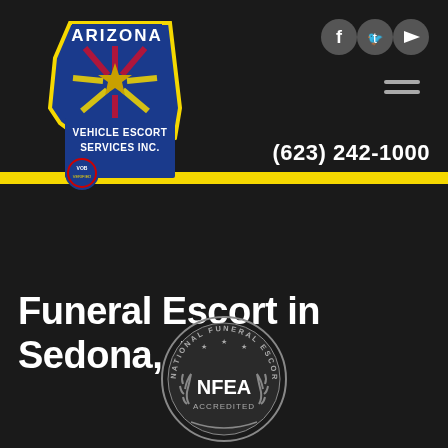[Figure (logo): Arizona Vehicle Escort Services Inc. logo - Arizona state shape in blue with Arizona flag sun rays and star, yellow outline, with text ARIZONA and VEHICLE ESCORT SERVICES INC. in white and blue. VOB Verified badge in bottom left.]
[Figure (logo): Social media icons: Facebook, Twitter, YouTube - circular grey icons]
(623) 242-1000
Funeral Escort in Sedona, AZ
[Figure (logo): National Funeral Escort Association (NFEA) Accredited badge - circular silver badge with laurel wreath and stars]